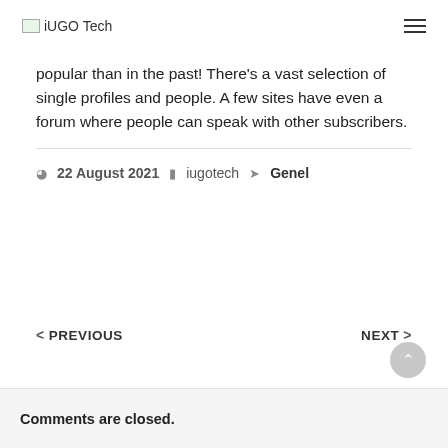iUGO Tech
popular than in the past! There's a vast selection of single profiles and people. A few sites have even a forum where people can speak with other subscribers.
22 August 2021  iugotech  Genel
< PREVIOUS    NEXT >
Comments are closed.